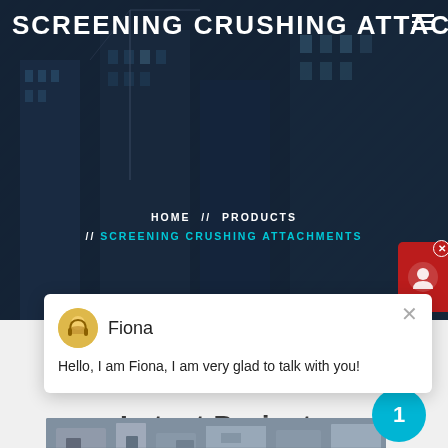SCREENING CRUSHING ATTACH
HOME // PRODUCTS // SCREENING CRUSHING ATTACHMENTS
Fiona
Hello, I am Fiona, I am very glad to talk with you!
Latest Projects
[Figure (photo): Industrial screening and crushing machinery equipment photograph]
1